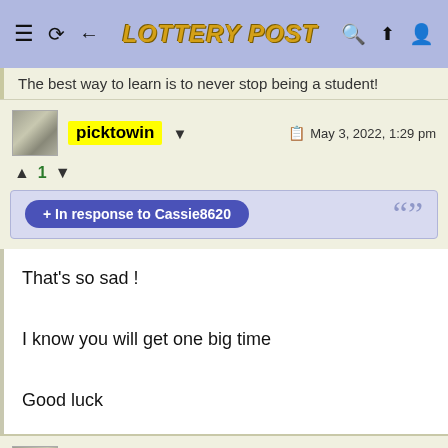LOTTERY POST
The best way to learn is to never stop being a student!
picktowin  May 3, 2022, 1:29 pm
▲ 1 ▼
+ In response to Cassie8620
That's so sad !!

I know you will get one big time

Good luck
plshelpme  May 3, 2022, 3:02 pm
Bridgestone Tire Sale
VirginiaTire & Auto of Ashburn Fa.